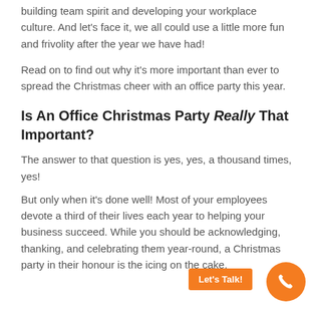building team spirit and developing your workplace culture. And let's face it, we all could use a little more fun and frivolity after the year we have had!
Read on to find out why it's more important than ever to spread the Christmas cheer with an office party this year.
Is An Office Christmas Party Really That Important?
The answer to that question is yes, yes, a thousand times, yes!
But only when it's done well! Most of your employees devote a third of their lives each year to helping your business succeed. While you should be acknowledging, thanking, and celebrating them year-round, a Christmas party in their honour is the icing on the cake.